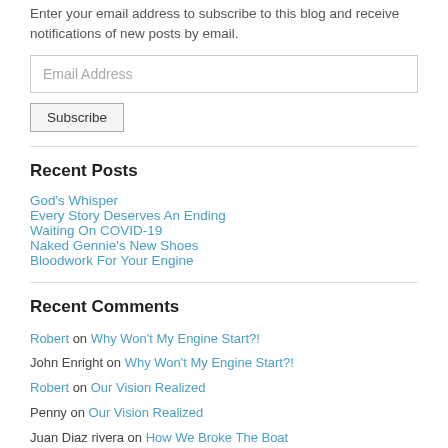Enter your email address to subscribe to this blog and receive notifications of new posts by email.
[Figure (other): Email Address input field]
[Figure (other): Subscribe button]
Recent Posts
God's Whisper
Every Story Deserves An Ending
Waiting On COVID-19
Naked Gennie's New Shoes
Bloodwork For Your Engine
Recent Comments
Robert on Why Won't My Engine Start?!
John Enright on Why Won't My Engine Start?!
Robert on Our Vision Realized
Penny on Our Vision Realized
Juan Diaz rivera on How We Broke The Boat